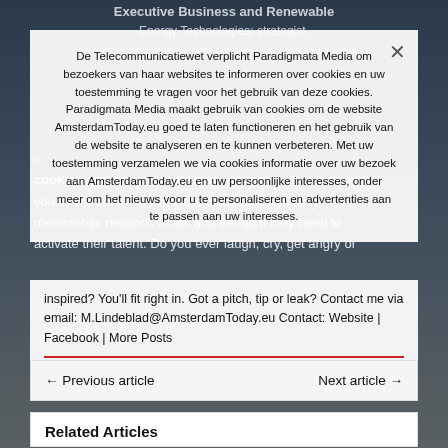[Figure (photo): Dark city background image with bluish-grey tones, partially visible behind overlay]
De Telecommunicatiewet verplicht Paradigmata Media om bezoekers van haar websites te informeren over cookies en uw toestemming te vragen voor het gebruik van deze cookies. Paradigmata Media maakt gebruik van cookies om de website AmsterdamToday.eu goed te laten functioneren en het gebruik van de website te analyseren en te kunnen verbeteren. Met uw toestemming verzamelen we via cookies informatie over uw bezoek aan AmsterdamToday.eu en uw persoonlijke interesses, onder meer om het nieuws voor u te personaliseren en advertenties aan te passen aan uw interesses.
young entrepreneurs with the tools, programming, mentorship, network, funds and freedom they need to activate their talent. Do you ever laugh, cry, get angry or inspired? You'll fit right in. Got a pitch, tip or leak? Contact me via email: M.Lindeblad@AmsterdamToday.eu Contact: Website | Facebook | More Posts
← Previous article
Next article →
Related Articles